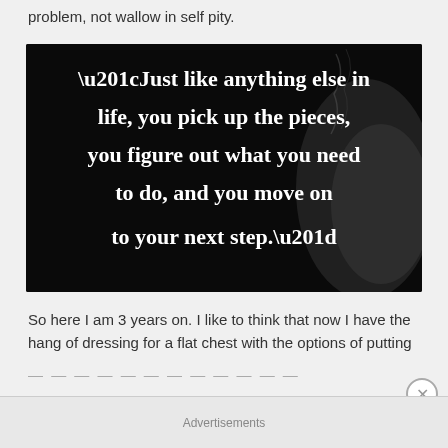problem, not wallow in self pity.
[Figure (illustration): Dark/black background image with white serif text quote: “Just like anything else in life, you pick up the pieces, you figure out what you need to do, and you move on to your next step.” with a dark shadowy hand/smoke element in background]
So here I am 3 years on. I like to think that now I have the hang of dressing for a flat chest with the options of putting
Advertisements